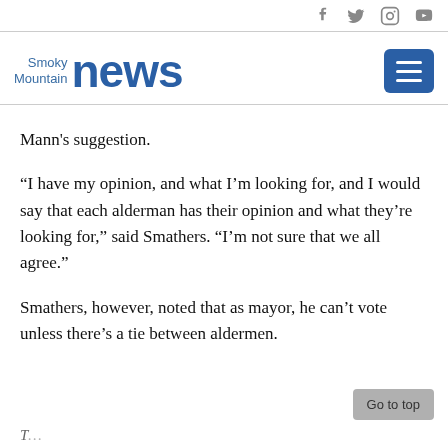Smoky Mountain News [social icons: Facebook, Twitter, Instagram, YouTube]
Mann's suggestion.
“I have my opinion, and what I’m looking for, and I would say that each alderman has their opinion and what they’re looking for,” said Smathers. “I’m not sure that we all agree.”
Smathers, however, noted that as mayor, he can’t vote unless there’s a tie between aldermen.